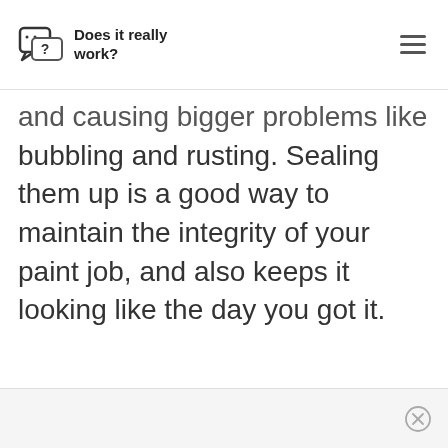Does it really work?
and causing bigger problems like bubbling and rusting. Sealing them up is a good way to maintain the integrity of your paint job, and also keeps it looking like the day you got it.